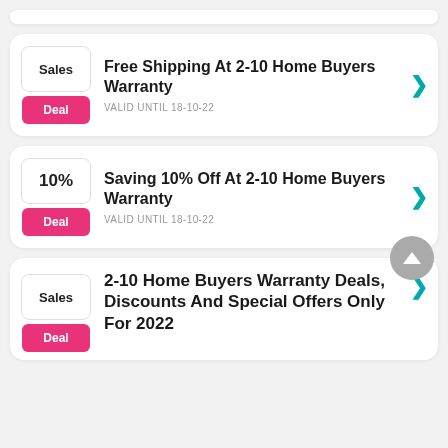Free Shipping At 2-10 Home Buyers Warranty — VALID UNTIL 18-10-22
Saving 10% Off At 2-10 Home Buyers Warranty — VALID UNTIL 18-10-22
2-10 Home Buyers Warranty Deals, Discounts And Special Offers Only For 2022